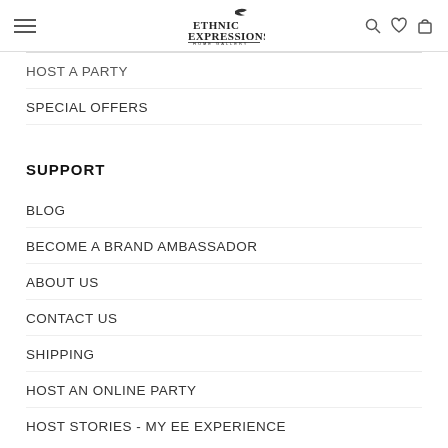Ethnic Expressions Home Gallery — navigation header with hamburger menu, logo, search, wishlist, and cart icons
HOST A PARTY
SPECIAL OFFERS
SUPPORT
BLOG
BECOME A BRAND AMBASSADOR
ABOUT US
CONTACT US
SHIPPING
HOST AN ONLINE PARTY
HOST STORIES - MY EE EXPERIENCE